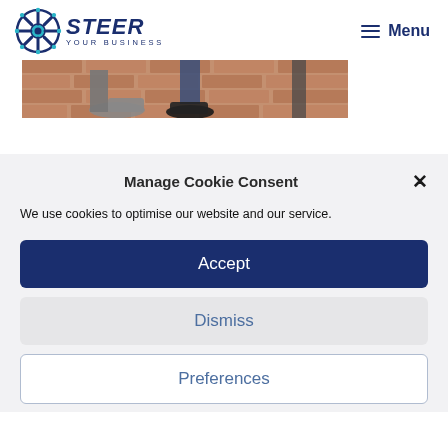STEER YOUR BUSINESS | Menu
[Figure (photo): Partial view of two people standing on a brick pavement, showing their legs and feet only. One person wears grey boots, the other wears dark jeans and black sneakers.]
Manage Cookie Consent
We use cookies to optimise our website and our service.
Accept
Dismiss
Preferences